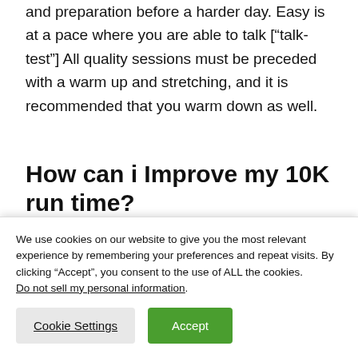and preparation before a harder day. Easy is at a pace where you are able to talk [“talk-test”] All quality sessions must be preceded with a warm up and stretching, and it is recommended that you warm down as well.
How can i Improve my 10K run time?
To improve a 10K run time, a person should
We use cookies on our website to give you the most relevant experience by remembering your preferences and repeat visits. By clicking “Accept”, you consent to the use of ALL the cookies.
Do not sell my personal information.